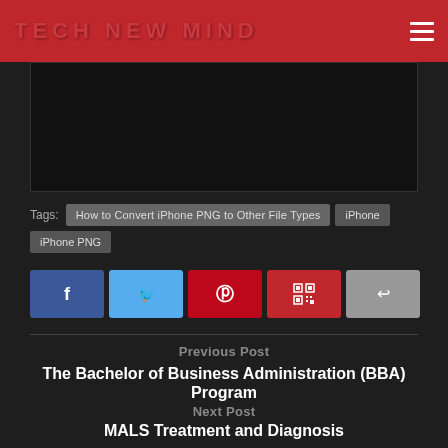TECH NEW MIND
[Figure (screenshot): Dark image/video placeholder area with black background and border]
Tags: How to Convert iPhone PNG to Other File Types | iPhone | iPhone PNG
[Figure (infographic): Social share buttons: Facebook, Twitter, Pinterest, QR code, and share icon]
Previous Post
The Bachelor of Business Administration (BBA) Program
Next Post
MALS Treatment and Diagnosis